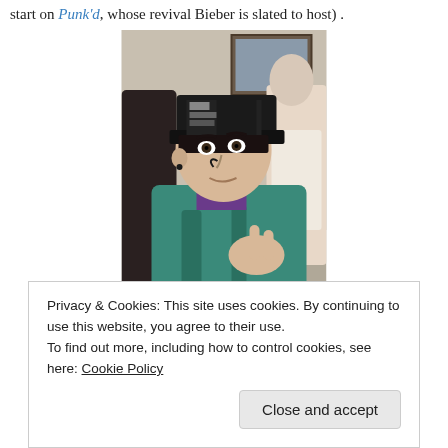start on Punk'd, whose revival Bieber is slated to host) .
[Figure (photo): A young man wearing a black snapback cap with a graphic pattern, a teal/turquoise hoodie, making a hand gesture. He has a small earring and there are other people visible in the background. He appears to be holding something white in his other hand.]
Privacy & Cookies: This site uses cookies. By continuing to use this website, you agree to their use.
To find out more, including how to control cookies, see here: Cookie Policy
Close and accept